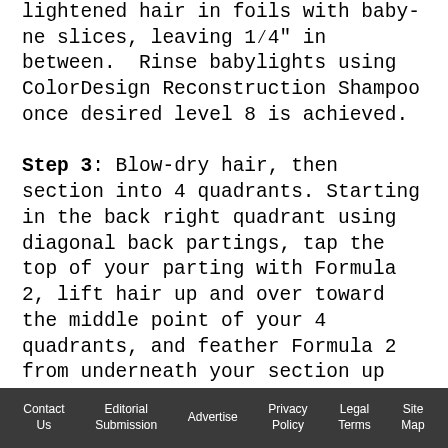lightened hair in foils with baby- ne slices, leaving 1⁄4" in between. Rinse babylights using ColorDesign Reconstruction Shampoo once desired level 8 is achieved.

Step 3: Blow-dry hair, then section into 4 quadrants. Starting in the back right quadrant using diagonal back partings, tap the top of your parting with Formula 2, lift hair up and over toward the middle point of your 4 quadrants, and feather Formula 2 from underneath your section up toward the middle point of the 4 quadrants. Repeat on all sections. Process for 35 minutes and rinse with Reconstruction Shampoo. Condition ends with
Contact Us | Editorial Submission | Advertise | Privacy Policy | Legal Terms | Site Map